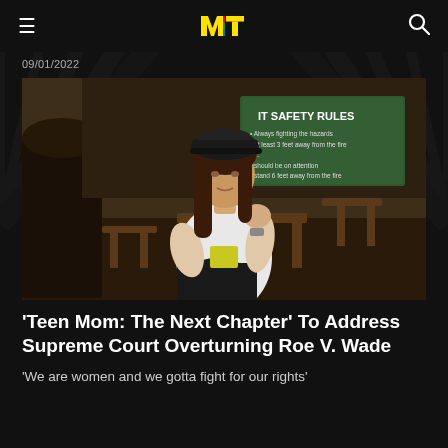MTV [logo] | hamburger menu | search icon
09/01/2022
[Figure (photo): Young woman with long brown hair wearing a black baseball cap and a white t-shirt with yellow print, sitting on a wooden chair outdoors. Behind her is a green sign reading 'IT SAFETY RULES'. She appears pensive, resting her chin on her hand.]
'Teen Mom: The Next Chapter' To Address Supreme Court Overturning Roe V. Wade
'We are women and we gotta fight for our rights'